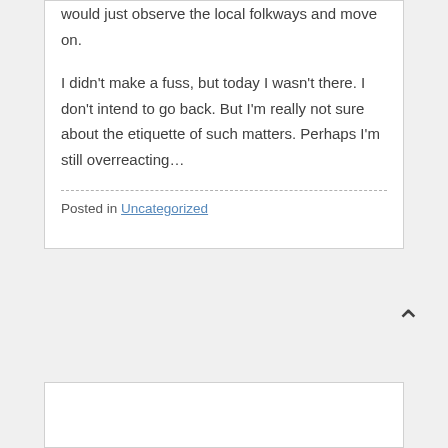would just observe the local folkways and move on.
I didn't make a fuss, but today I wasn't there. I don't intend to go back. But I'm really not sure about the etiquette of such matters. Perhaps I'm still overreacting…
Posted in Uncategorized